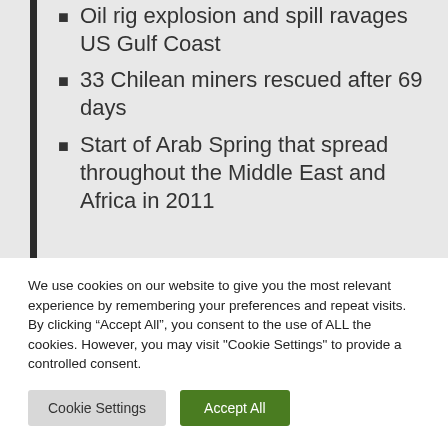Oil rig explosion and spill ravages US Gulf Coast
33 Chilean miners rescued after 69 days
Start of Arab Spring that spread throughout the Middle East and Africa in 2011
We use cookies on our website to give you the most relevant experience by remembering your preferences and repeat visits. By clicking “Accept All”, you consent to the use of ALL the cookies. However, you may visit "Cookie Settings" to provide a controlled consent.
Cookie Settings
Accept All